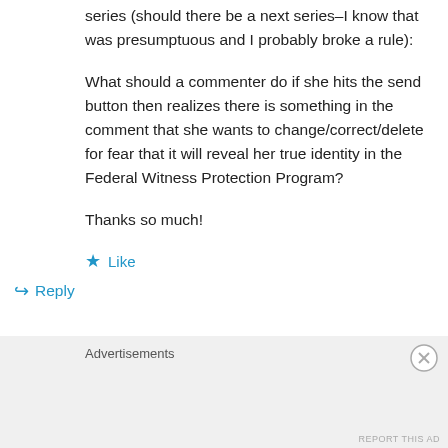series (should there be a next series–I know that was presumptuous and I probably broke a rule):
What should a commenter do if she hits the send button then realizes there is something in the comment that she wants to change/correct/delete for fear that it will reveal her true identity in the Federal Witness Protection Program?
Thanks so much!
★ Like
↪ Reply
Advertisements
REPORT THIS AD